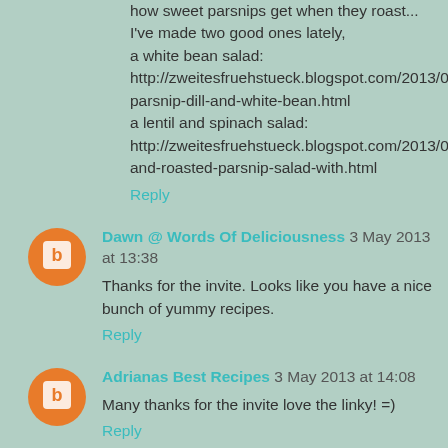how sweet parsnips get when they roast... I've made two good ones lately, a white bean salad: http://zweitesfruehstueck.blogspot.com/2013/04/carrot-parsnip-dill-and-white-bean.html a lentil and spinach salad: http://zweitesfruehstueck.blogspot.com/2013/05/lentil-and-roasted-parsnip-salad-with.html
Reply
Dawn @ Words Of Deliciousness  3 May 2013 at 13:38
Thanks for the invite. Looks like you have a nice bunch of yummy recipes.
Reply
Adrianas Best Recipes  3 May 2013 at 14:08
Many thanks for the invite love the linky! =)
Reply